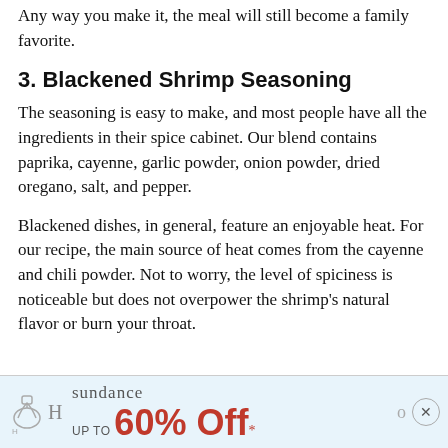Any way you make it, the meal will still become a family favorite.
3. Blackened Shrimp Seasoning
The seasoning is easy to make, and most people have all the ingredients in their spice cabinet. Our blend contains paprika, cayenne, garlic powder, onion powder, dried oregano, salt, and pepper.
Blackened dishes, in general, feature an enjoyable heat. For our recipe, the main source of heat comes from the cayenne and chili powder. Not to worry, the level of spiciness is noticeable but does not overpower the shrimp's natural flavor or burn your throat.
[Figure (other): Advertisement banner for Sundance offering UP TO 60% Off*]